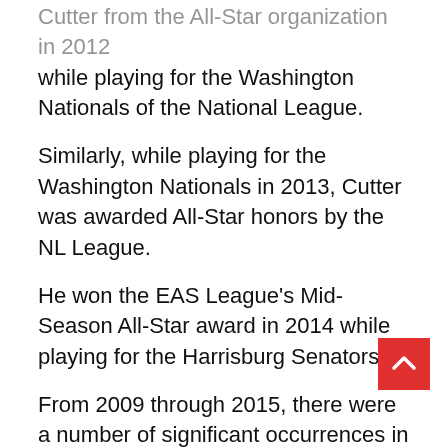Cutter from the All-Star organization in 2012 while playing for the Washington Nationals of the National League.
Similarly, while playing for the Washington Nationals in 2013, Cutter was awarded All-Star honors by the NL League.
He won the EAS League's Mid-Season All-Star award in 2014 while playing for the Harrisburg Senators.
From 2009 through 2015, there were a number of significant occurrences in Dykstra's career.
Helena Brewers picked Cutter Dykstra on May 16, 2009.
Cutter was drafted by the Wisconsin Timber Rattlers from the Helena Brewers once more in 2010.